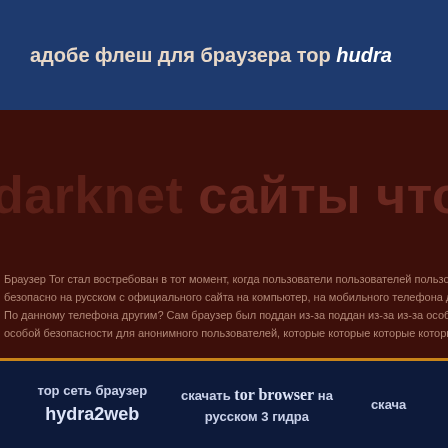адобе флеш для браузера тор hudra
darknet сайты что это hurda
Браузер Tor стал востребован в тот момент, когда пользователи безопасно на русском с официального сайта на компьютер, мобильного телефона другим? Сам браузер был поддан из-за особой безопасности для анонимного пользователей, которые
тор сеть браузер hydra2web | скачать tor browser на русском 3 гидра | скача